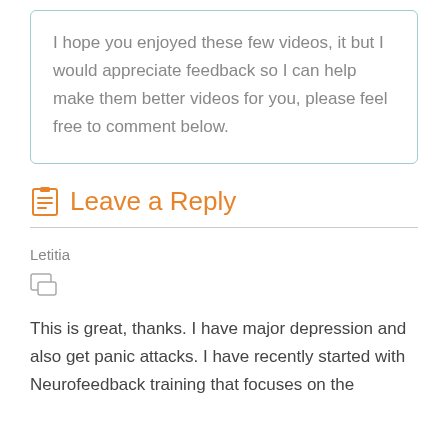I hope you enjoyed these few videos, it but I would appreciate feedback so I can help make them better videos for you, please feel free to comment below.
Leave a Reply
Letitia
This is great, thanks. I have major depression and also get panic attacks. I have recently started with Neurofeedback training that focuses on the